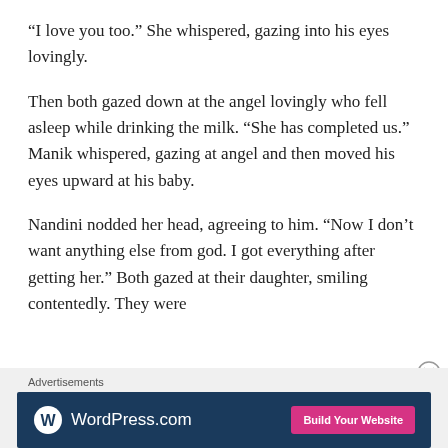“I love you too.” She whispered, gazing into his eyes lovingly.
Then both gazed down at the angel lovingly who fell asleep while drinking the milk. “She has completed us.” Manik whispered, gazing at angel and then moved his eyes upward at his baby.
Nandini nodded her head, agreeing to him. “Now I don’t want anything else from god. I got everything after getting her.” Both gazed at their daughter, smiling contentedly. They were
[Figure (screenshot): WordPress.com advertisement banner with logo and 'Build Your Website' button on dark blue background]